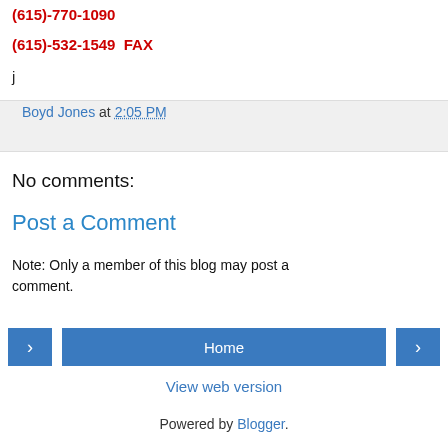(615)-770-1090
(615)-532-1549  FAX
j
Boyd Jones at 2:05 PM
No comments:
Post a Comment
Note: Only a member of this blog may post a comment.
Home
View web version
Powered by Blogger.